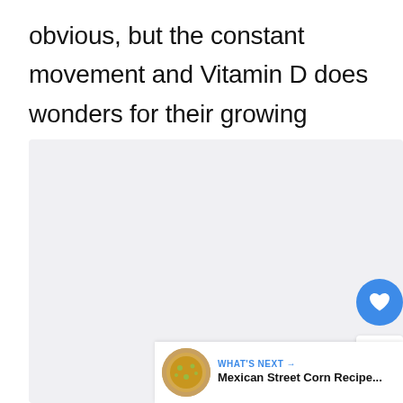obvious, but the constant movement and Vitamin D does wonders for their growing bodies
[Figure (other): Large light grey image placeholder area with UI overlay elements: a blue heart/like button, a share button, a count of 1, and a 'What's Next' banner showing Mexican Street Corn Recipe.]